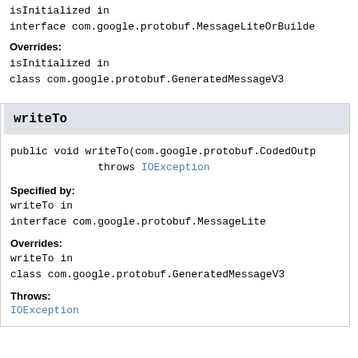isInitialized in interface com.google.protobuf.MessageLiteOrBuilder
Overrides:
isInitialized in class com.google.protobuf.GeneratedMessageV3
writeTo
public void writeTo(com.google.protobuf.CodedOutputStream) throws IOException
Specified by:
writeTo in interface com.google.protobuf.MessageLite
Overrides:
writeTo in class com.google.protobuf.GeneratedMessageV3
Throws:
IOException